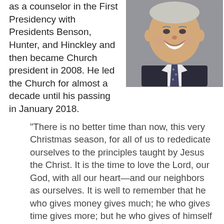as a counselor in the First Presidency with Presidents Benson, Hunter, and Hinckley and then became Church president in 2008. He led the Church for almost a decade until his passing in January 2018.
[Figure (photo): Portrait photo of an elderly man in a dark suit and tie, smiling broadly]
"There is no better time than now, this very Christmas season, for all of us to rededicate ourselves to the principles taught by Jesus the Christ. It is the time to love the Lord, our God, with all our heart—and our neighbors as ourselves. It is well to remember that he who gives money gives much; he who gives time gives more; but he who gives of himself gives all.
"Let us make Christmas real. It isn't just tinsel and ribbon, unless we have made it so in our lives. Christmas is the spirit of giving without a thought of getting. It is happiness because we see joy in people. It is forgetting self and finding